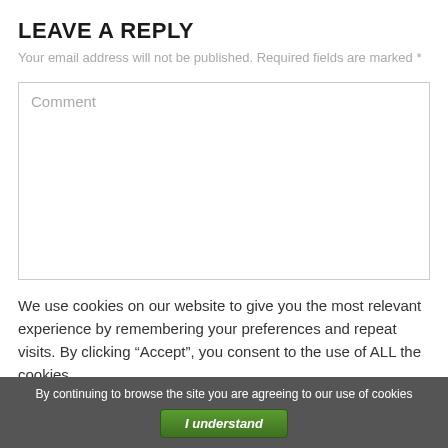LEAVE A REPLY
Your email address will not be published. Required fields are marked *
Comment
We use cookies on our website to give you the most relevant experience by remembering your preferences and repeat visits. By clicking “Accept”, you consent to the use of ALL the cookies.
By continuing to browse the site you are agreeing to our use of cookies
I understand